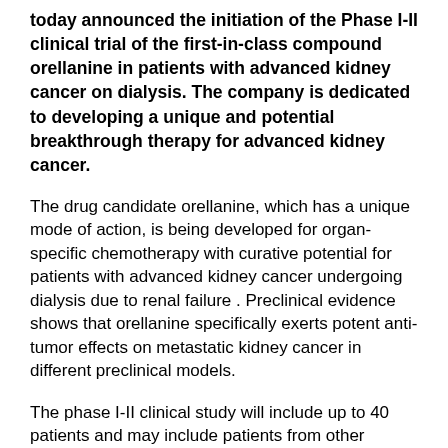today announced the initiation of the Phase I-II clinical trial of the first-in-class compound orellanine in patients with advanced kidney cancer on dialysis. The company is dedicated to developing a unique and potential breakthrough therapy for advanced kidney cancer.
The drug candidate orellanine, which has a unique mode of action, is being developed for organ-specific chemotherapy with curative potential for patients with advanced kidney cancer undergoing dialysis due to renal failure . Preclinical evidence shows that orellanine specifically exerts potent anti-tumor effects on metastatic kidney cancer in different preclinical models.
The phase I-II clinical study will include up to 40 patients and may include patients from other European countries. The clinical trial is being conducted in collaboration with the Center for Clinical Cancer Studies at Karolinska University Hospital in Stockholm, Sweden. As patients are dependent on dialysis,